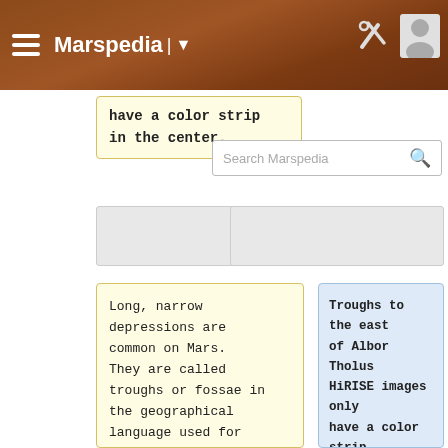Marspedia
have a color strip in the center.
Long, narrow depressions are common on Mars. They are called troughs or fossae in the geographical language used for Mars. Troughs may be made when the crust is stretched until it breaks. The mass of the huge volcanoes can cause this stretching. Fossae and common in the Elysium...
Troughs to the east of Albor Tholus HiRISE images only have a color strip in the center. Marquakes detected by InSight are originating in places like this.